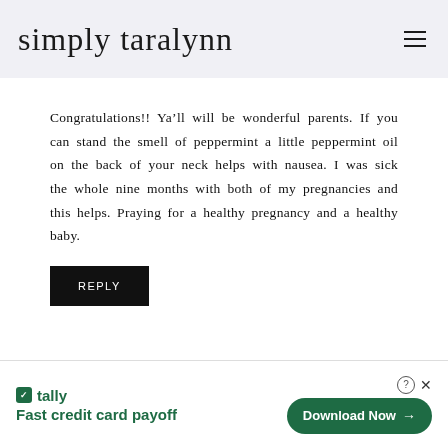simply taralynn
Congratulations!! Ya’ll will be wonderful parents. If you can stand the smell of peppermint a little peppermint oil on the back of your neck helps with nausea. I was sick the whole nine months with both of my pregnancies and this helps. Praying for a healthy pregnancy and a healthy baby.
REPLY
[Figure (screenshot): Tally advertisement banner: 'Fast credit card payoff' with a 'Download Now' button]